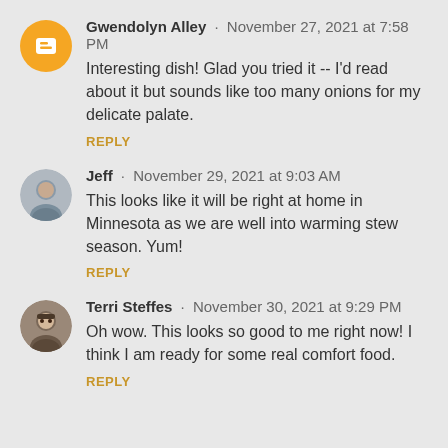Gwendolyn Alley · November 27, 2021 at 7:58 PM
Interesting dish! Glad you tried it -- I'd read about it but sounds like too many onions for my delicate palate.
REPLY
Jeff · November 29, 2021 at 9:03 AM
This looks like it will be right at home in Minnesota as we are well into warming stew season. Yum!
REPLY
Terri Steffes · November 30, 2021 at 9:29 PM
Oh wow. This looks so good to me right now! I think I am ready for some real comfort food.
REPLY